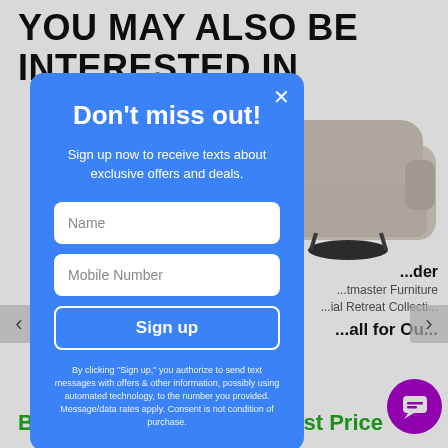YOU MAY ALSO BE INTERESTED IN
[Figure (photo): Beige upholstered swivel armchair on dark base]
...der
...tmaster Furniture
...ial Retreat Collecti...
...all for Ou...
Best Price
Best Price
[Figure (screenshot): Email/SMS signup modal popup with blue background. Title: Don't miss out! Subtitle: Sign up now to receive texts about exclusive offers and deals. Input fields: Name, Mobile Number. Button: Sign up. Legal disclaimer text at bottom.]
Don't miss out!
Sign up now to receive texts about exclusive offers and deals.
Name
Mobile Number
Sign up
By clicking "Sign up," you authorize to send text messages with offers & other information, possibly using automated technology, to the number you provided. Message/data rates apply. Consent is not condition of purchase.